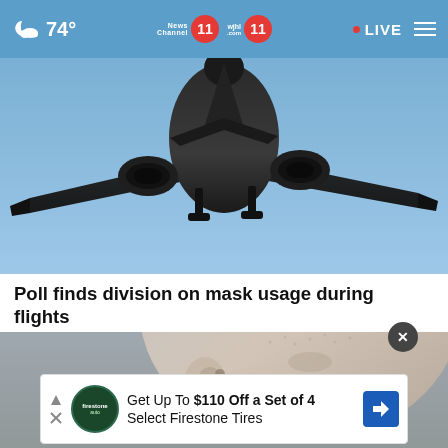74° News Channel 11 wjhl.com 11 • LIVE
[Figure (photo): Underside view of a large commercial airplane flying against a blue sky, showing landing gear, engines, and wings.]
Poll finds division on mask usage during flights
[Figure (photo): Close-up photo of a bald person's head and ear, slightly blurred.]
Get Up To $110 Off a Set of 4 Select Firestone Tires